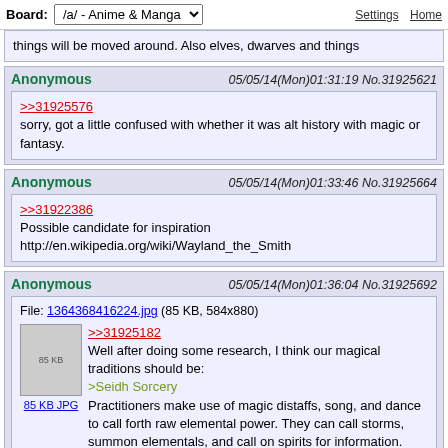Board: /a/ - Anime & Manga | Settings | Home
things will be moved around. Also elves, dwarves and things
Anonymous 05/05/14(Mon)01:31:19 No.31925621
>>31925576
sorry, got a little confused with whether it was alt history with magic or fantasy.
Anonymous 05/05/14(Mon)01:33:46 No.31925664
>>31922386
Possible candidate for inspiration
http://en.wikipedia.org/wiki/Wayland_the_Smith
Anonymous 05/05/14(Mon)01:36:04 No.31925692
File: 1364368416224.jpg (85 KB, 584x880)
>>31925182
Well after doing some research, I think our magical traditions should be:
>Seidh Sorcery
Practitioners make use of magic distaffs, song, and dance to call forth raw elemental power. They can call storms, summon elementals, and call on spirits for information. Primarily used by woman, and men practicing this magic was seen as taboo. We can assume this taboo has lightened up over the years though.